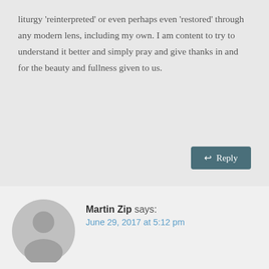liturgy 'reinterpreted' or even perhaps even 'restored' through any modern lens, including my own. I am content to try to understand it better and simply pray and give thanks in and for the beauty and fullness given to us.
↩ Reply
[Figure (illustration): Gray circular avatar placeholder with silhouette of a person (head and shoulders)]
Martin Zip says:
June 29, 2017 at 5:12 pm
Fr Lawrence,
Excellent questions with no easy answers. The